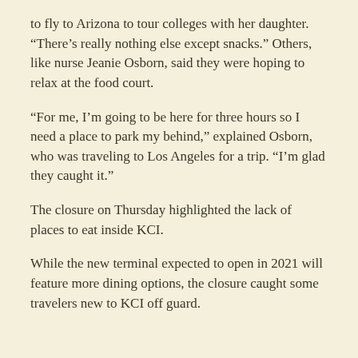to fly to Arizona to tour colleges with her daughter. “There’s really nothing else except snacks.” Others, like nurse Jeanie Osborn, said they were hoping to relax at the food court.
“For me, I’m going to be here for three hours so I need a place to park my behind,” explained Osborn, who was traveling to Los Angeles for a trip. “I’m glad they caught it.”
The closure on Thursday highlighted the lack of places to eat inside KCI.
While the new terminal expected to open in 2021 will feature more dining options, the closure caught some travelers new to KCI off guard.